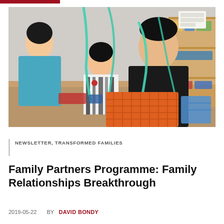[Figure (photo): A man and a child playing with teal-colored slime/stretchy material over an orange basket on a table, with a woman in the background in a classroom setting]
NEWSLETTER, TRANSFORMED FAMILIES
Family Partners Programme: Family Relationships Breakthrough
2019-05-22   BY DAVID BONDY